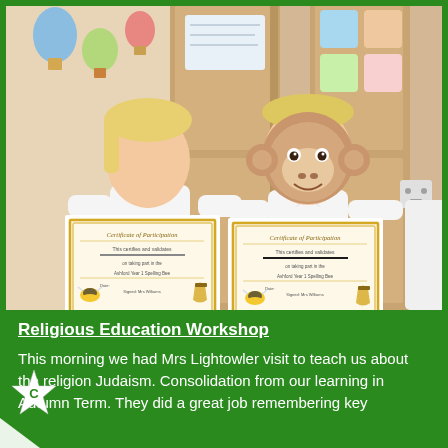[Figure (photo): Two young children in white school polo shirts standing in a classroom, each holding a 'Certificate of Participation' with bee and honeypot design. The child on the right has a monkey emoji face overlay obscuring their face. Classroom door and decorative wall displays visible in background.]
Religious Education Workshop
This morning we had Mrs Lightowler visit to teach us about the religion Judaism. Consolidation from our learning in Autumn Term. They did a great job remembering key